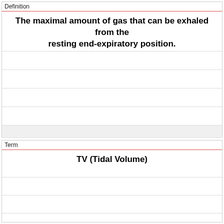Definition
The maximal amount of gas that can be exhaled from the resting end-expiratory position.
Term
TV (Tidal Volume)